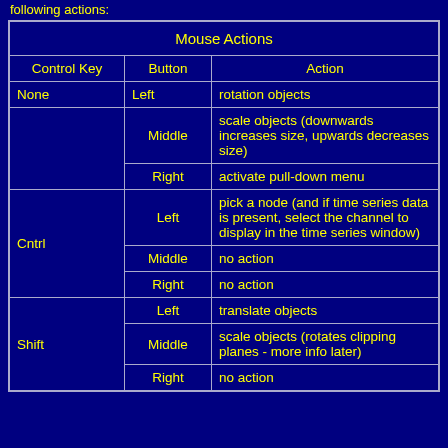following actions:
| Mouse Actions |
| --- |
| Control Key | Button | Action |
| None | Left | rotation objects |
|  | Middle | scale objects (downwards increases size, upwards decreases size) |
|  | Right | activate pull-down menu |
| Cntrl | Left | pick a node (and if time series data is present, select the channel to display in the time series window) |
|  | Middle | no action |
|  | Right | no action |
| Shift | Left | translate objects |
|  | Middle | scale objects (rotates clipping planes - more info later) |
|  | Right | no action |